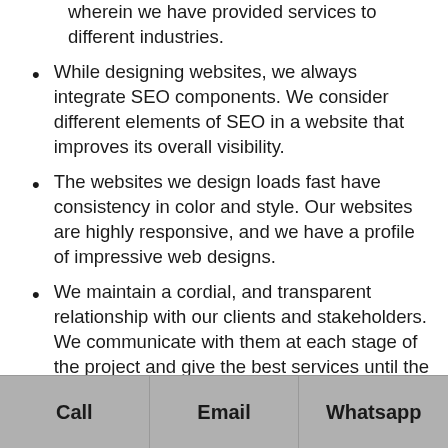wherein we have provided services to different industries.
While designing websites, we always integrate SEO components. We consider different elements of SEO in a website that improves its overall visibility.
The websites we design loads fast have consistency in color and style. Our websites are highly responsive, and we have a profile of impressive web designs.
We maintain a cordial, and transparent relationship with our clients and stakeholders. We communicate with them at each stage of the project and give the best services until the website launches.
Call  Email  Whatsapp